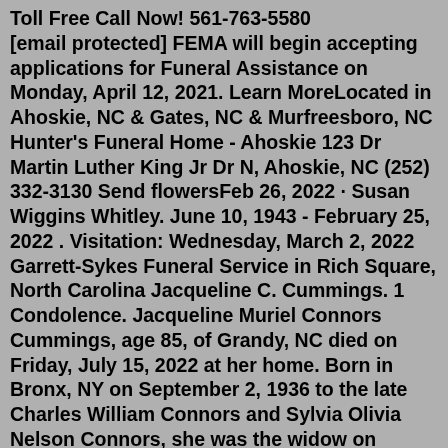Toll Free Call Now! 561-763-5580 [email protected] FEMA will begin accepting applications for Funeral Assistance on Monday, April 12, 2021. Learn MoreLocated in Ahoskie, NC & Gates, NC & Murfreesboro, NC Hunter's Funeral Home - Ahoskie 123 Dr Martin Luther King Jr Dr N, Ahoskie, NC (252) 332-3130 Send flowersFeb 26, 2022 · Susan Wiggins Whitley. June 10, 1943 - February 25, 2022 . Visitation: Wednesday, March 2, 2022 Garrett-Sykes Funeral Service in Rich Square, North Carolina Jacqueline C. Cummings. 1 Condolence. Jacqueline Muriel Connors Cummings, age 85, of Grandy, NC died on Friday, July 15, 2022 at her home. Born in Bronx, NY on September 2, 1936 to the late Charles William Connors and Sylvia Olivia Nelson Connors, she was the widow on Francis Eugene Cummings. She is survived by one brother, Charles W. Connors, Jr. Oct 01, 2017 · Garrett Funeral Home in Ahoskie. 314 Main St W Ahoskie, NC 27910. (252) 332-3122. Click to show location on map. Zoom. Garrett Funeral Home 314 NC W Ahoskie, North North...